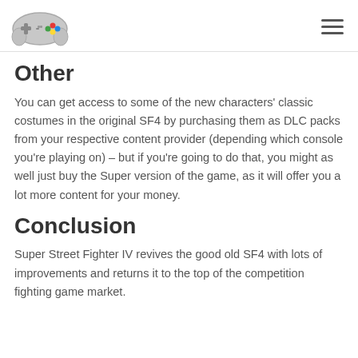[gamepad logo] [hamburger menu]
Other
You can get access to some of the new characters' classic costumes in the original SF4 by purchasing them as DLC packs from your respective content provider (depending which console you're playing on) – but if you're going to do that, you might as well just buy the Super version of the game, as it will offer you a lot more content for your money.
Conclusion
Super Street Fighter IV revives the good old SF4 with lots of improvements and returns it to the top of the competition fighting game market.